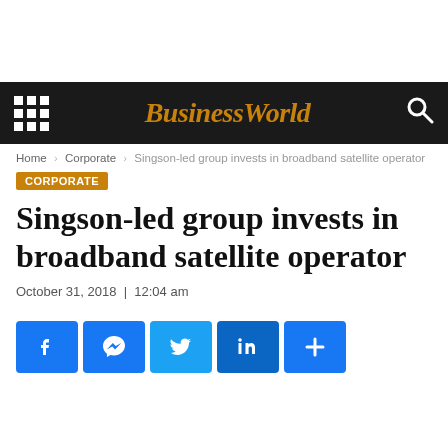BusinessWorld
Home › Corporate › Singson-led group invests in broadband satellite operator
CORPORATE
Singson-led group invests in broadband satellite operator
October 31, 2018  |  12:04 am
[Figure (other): Social share buttons: Facebook, Messenger, Twitter, LinkedIn, More]